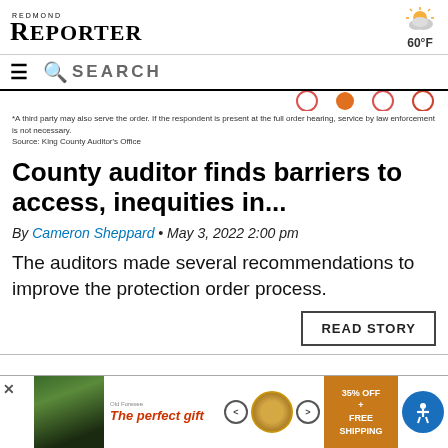REDMOND REPORTER
*A third party may also serve the order. If the respondent is present at the full order hearing, service by law enforcement is not necessary.
Source: King County Auditor's Office
County auditor finds barriers to access, inequities in...
By Cameron Sheppard • May 3, 2022 2:00 pm
The auditors made several recommendations to improve the protection order process.
READ STORY
[Figure (infographic): Advertisement banner: The perfect gift - 35% OFF + FREE SHIPPING with food product image and navigation arrows]